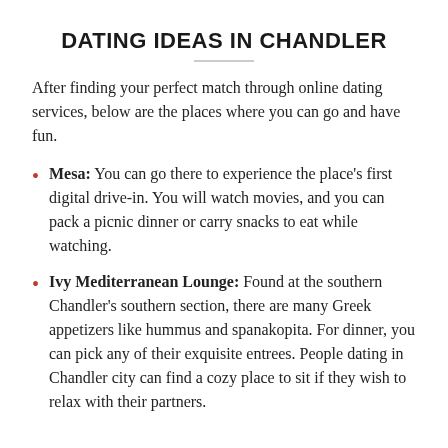DATING IDEAS IN CHANDLER
After finding your perfect match through online dating services, below are the places where you can go and have fun.
Mesa: You can go there to experience the place's first digital drive-in. You will watch movies, and you can pack a picnic dinner or carry snacks to eat while watching.
Ivy Mediterranean Lounge: Found at the southern Chandler's southern section, there are many Greek appetizers like hummus and spanakopita. For dinner, you can pick any of their exquisite entrees. People dating in Chandler city can find a cozy place to sit if they wish to relax with their partners.